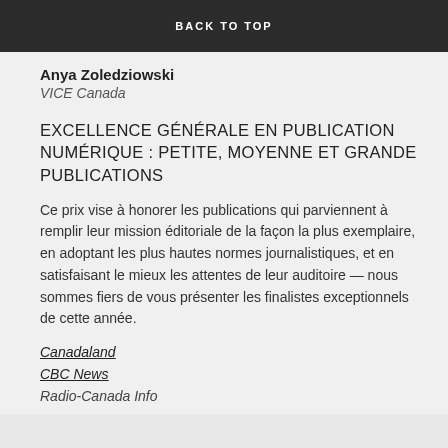BACK TO TOP
Anya Zoledziowski
VICE Canada
EXCELLENCE GÉNÉRALE EN PUBLICATION NUMÉRIQUE : PETITE, MOYENNE ET GRANDE PUBLICATIONS
Ce prix vise à honorer les publications qui parviennent à remplir leur mission éditoriale de la façon la plus exemplaire, en adoptant les plus hautes normes journalistiques, et en satisfaisant le mieux les attentes de leur auditoire — nous sommes fiers de vous présenter les finalistes exceptionnels de cette année.
Canadaland
CBC News
Radio-Canada Info